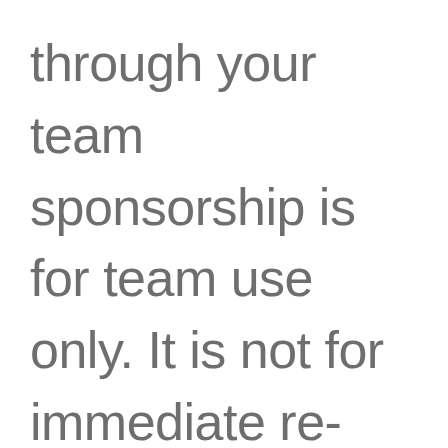through your team sponsorship is for team use only. It is not for immediate re-sale. If you are caught attempting to sell your team gear before the